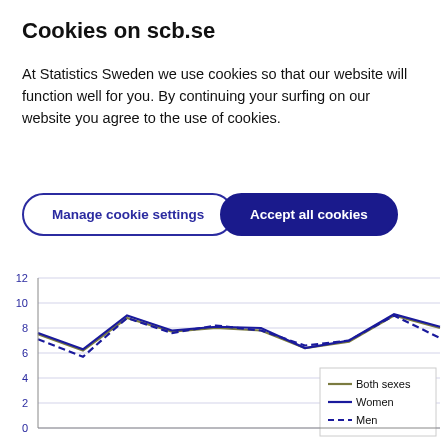Cookies on scb.se
At Statistics Sweden we use cookies so that our website will function well for you. By continuing your surfing on our website you agree to the use of cookies.
[Figure (other): Manage cookie settings button (outline style, blue border and text)]
[Figure (other): Accept all cookies button (filled dark blue)]
[Figure (line-chart): ]